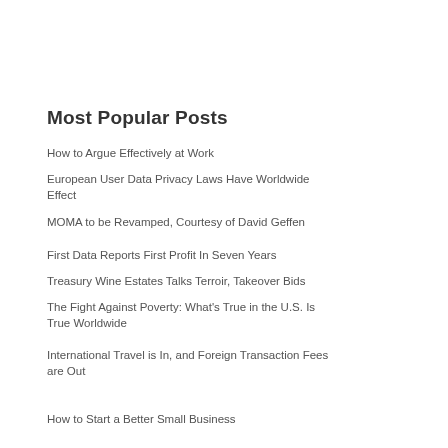Most Popular Posts
How to Argue Effectively at Work
European User Data Privacy Laws Have Worldwide Effect
MOMA to be Revamped, Courtesy of David Geffen
First Data Reports First Profit In Seven Years
Treasury Wine Estates Talks Terroir, Takeover Bids
The Fight Against Poverty: What's True in the U.S. Is True Worldwide
International Travel is In, and Foreign Transaction Fees are Out
How to Start a Better Small Business